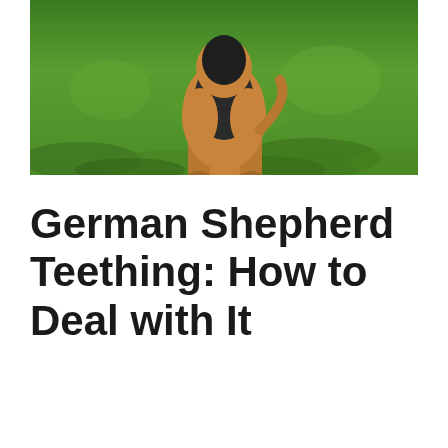[Figure (photo): A German Shepherd dog sitting on green grass, photographed from mid-body down, showing tan and black coloring against lush green lawn background.]
German Shepherd Teething: How to Deal with It